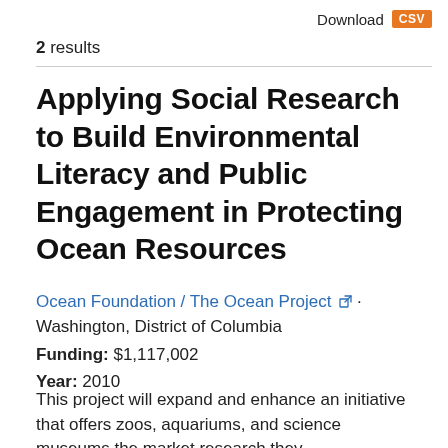Download CSV
2 results
Applying Social Research to Build Environmental Literacy and Public Engagement in Protecting Ocean Resources
Ocean Foundation / The Ocean Project · Washington, District of Columbia
Funding: $1,117,002
Year: 2010
This project will expand and enhance an initiative that offers zoos, aquariums, and science museums the market research they